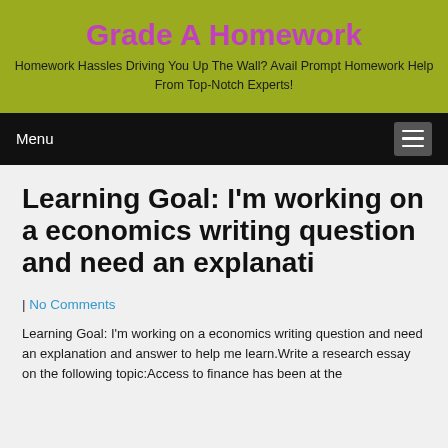Grade A Homework
Homework Hassles Driving You Up The Wall? Avail Prompt Homework Help From Top-Notch Experts!
Menu
Learning Goal: I'm working on a economics writing question and need an explanati
| No Comments
Learning Goal: I'm working on a economics writing question and need an explanation and answer to help me learn.Write a research essay on the following topic:Access to finance has been at the